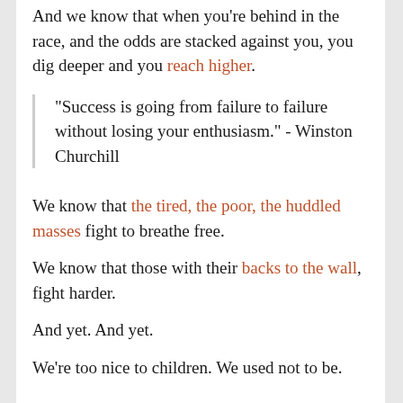And we know that when you're behind in the race, and the odds are stacked against you, you dig deeper and you reach higher.
"Success is going from failure to failure without losing your enthusiasm." - Winston Churchill
We know that the tired, the poor, the huddled masses fight to breathe free.
We know that those with their backs to the wall, fight harder.
And yet. And yet.
We're too nice to children. We used not to be.